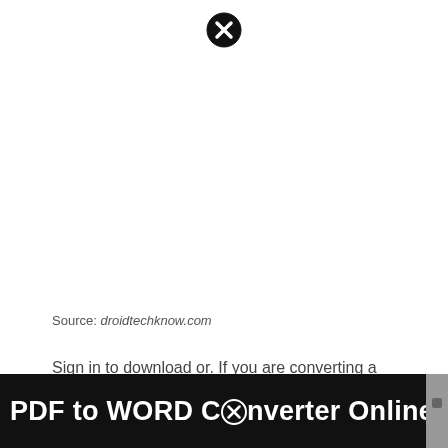[Figure (other): Close/dismiss icon — a circle with an X inside, at the top center of the page]
Source: droidtechknow.com
Sign in to download or. If you are converting a scanned pdf document, simply upload your pdf as usual.
PDF to WORD Converter Online